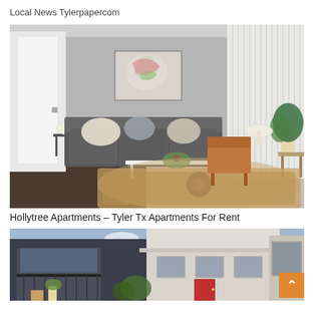Local News Tylerpapercom
[Figure (photo): Interior living room of Hollytree Apartments showing a grey sofa with pillows, a white coffee table, patterned area rug, a brown armchair, tall white vertical blinds on a large window, a table lamp, a plant, and artwork on the wall.]
Hollytree Apartments – Tyler Tx Apartments For Rent
[Figure (photo): Exterior collage of apartment buildings showing a dark-sided building with a balcony on the left, a white/beige building with a red door in the center, and another exterior view on the right with a cloudy blue sky.]